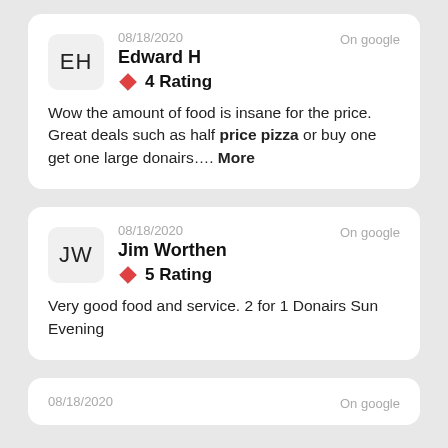08/18/2020  On google
Edward H
4 Rating
Wow the amount of food is insane for the price. Great deals such as half price pizza or buy one get one large donairs.... More
08/18/2020  On google
Jim Worthen
5 Rating
Very good food and service. 2 for 1 Donairs Sun Evening
08/18/2020  On google